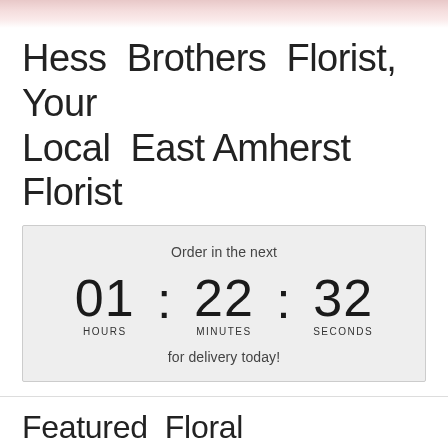[Figure (photo): Top decorative floral banner image, light pink/white gradient]
Hess Brothers Florist, Your Local East Amherst Florist
Order in the next 01 : 22 : 32 HOURS MINUTES SECONDS for delivery today!
Featured Floral Arrangements